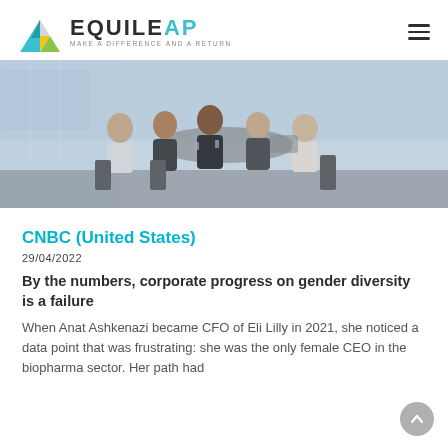EQUILEAP — MAKE A DIFFERENCE AND A RETURN
[Figure (photo): Group of five women sitting around a round table in a modern office with city view, engaged in conversation]
CNBC (United States)
29/04/2022
By the numbers, corporate progress on gender diversity is a failure
When Anat Ashkenazi became CFO of Eli Lilly in 2021, she noticed a data point that was frustrating: she was the only female CEO in the biopharma sector. Her path had